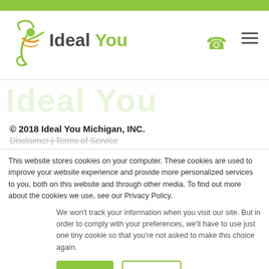[Figure (logo): Ideal You logo with green figure icon and green/gray text]
© 2018 Ideal You Michigan, INC.
Disclaimer | Terms of Service
This website stores cookies on your computer. These cookies are used to improve your website experience and provide more personalized services to you, both on this website and through other media. To find out more about the cookies we use, see our Privacy Policy.
We won't track your information when you visit our site. But in order to comply with your preferences, we'll have to use just one tiny cookie so that you're not asked to make this choice again.